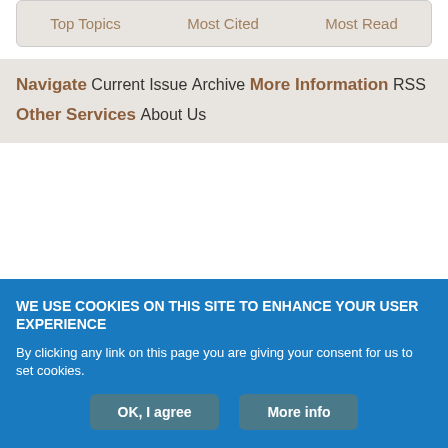Top Topics | Most Cited | Most Read
Navigate
Current Issue
Archive
More Information
RSS
Other Services
About Us
WE USE COOKIES ON THIS SITE TO ENHANCE YOUR USER EXPERIENCE
By clicking any link on this page you are giving your consent for us to set cookies.
OK, I agree | More info